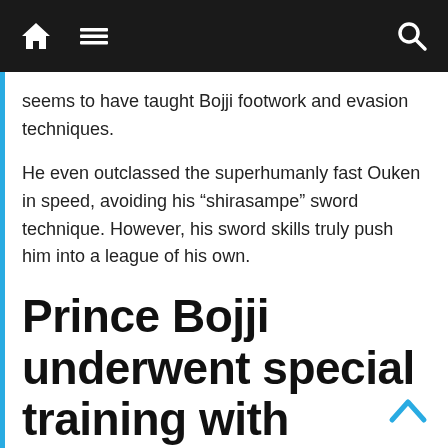Navigation bar with home, menu, and search icons
seems to have taught Bojji footwork and evasion techniques.
He even outclassed the superhumanly fast Ouken in speed, avoiding his “shirasampe” sword technique. However, his sword skills truly push him into a league of his own.
Prince Bojji underwent special training with Despa to become the ‘strongest man in the